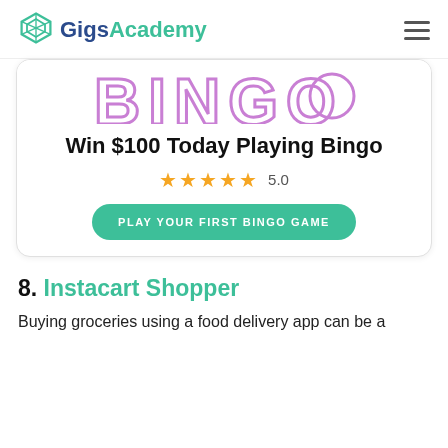Gigs Academy
[Figure (screenshot): Bingo game promotional card showing partial BINGO logo in purple outline letters at top, bold title 'Win $100 Today Playing Bingo', 5 gold stars rating 5.0, and a teal CTA button 'PLAY YOUR FIRST BINGO GAME']
8. Instacart Shopper
Buying groceries using a food delivery app can be a